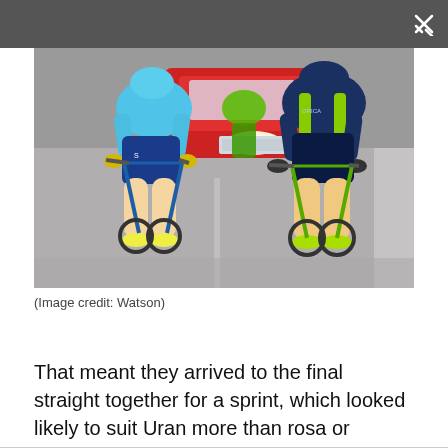[Figure (photo): Cyclists in a road race, close-up view of riders on bicycles including one in a light blue Astana kit and another in a dark blue and green kit, with a red car visible in the background on a grey road.]
(Image credit: Watson)
That meant they arrived to the final straight together for a sprint, which looked likely to suit Uran more than rosa or